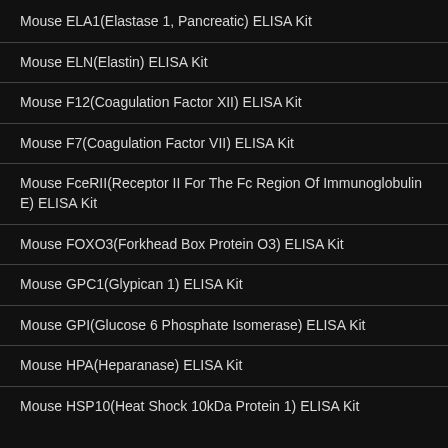Mouse ELA1(Elastase 1, Pancreatic) ELISA Kit
Mouse ELN(Elastin) ELISA Kit
Mouse F12(Coagulation Factor XII) ELISA Kit
Mouse F7(Coagulation Factor VII) ELISA Kit
Mouse FceRII(Receptor II For The Fc Region Of Immunoglobulin E) ELISA Kit
Mouse FOXO3(Forkhead Box Protein O3) ELISA Kit
Mouse GPC1(Glypican 1) ELISA Kit
Mouse GPI(Glucose 6 Phosphate Isomerase) ELISA Kit
Mouse HPA(Heparanase) ELISA Kit
Mouse HSP10(Heat Shock 10kDa Protein 1) ELISA Kit